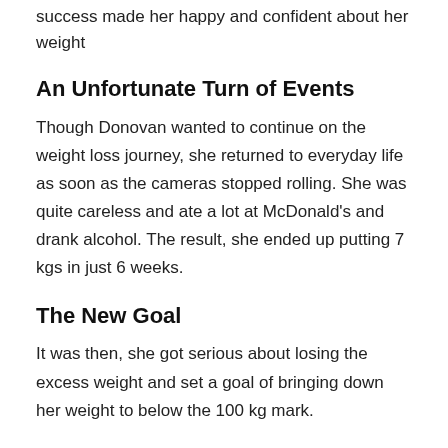success made her happy and confident about her weight
An Unfortunate Turn of Events
Though Donovan wanted to continue on the weight loss journey, she returned to everyday life as soon as the cameras stopped rolling. She was quite careless and ate a lot at McDonald's and drank alcohol. The result, she ended up putting 7 kgs in just 6 weeks.
The New Goal
It was then, she got serious about losing the excess weight and set a goal of bringing down her weight to below the 100 kg mark.
New Life, New Hopes